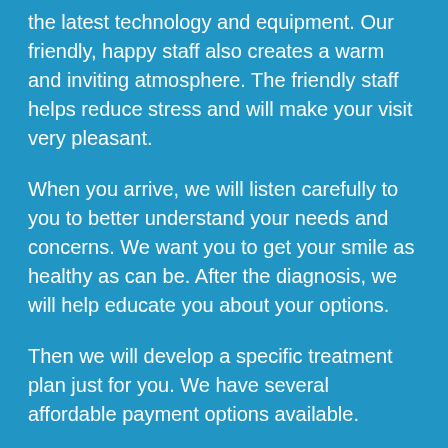the latest technology and equipment. Our friendly, happy staff also creates a warm and inviting atmosphere. The friendly staff helps reduce stress and will make your visit very pleasant.
When you arrive, we will listen carefully to you to better understand your needs and concerns. We want you to get your smile as healthy as can be. After the diagnosis, we will help educate you about your options.
Then we will develop a specific treatment plan just for you. We have several affordable payment options available.
If you need any dentistry or just a general dentist, we have you covered. Outstanding customer service is our focus and provides you with high-quality dentistry. If you have an excellent track record of dental care or have not seen a dentist in several